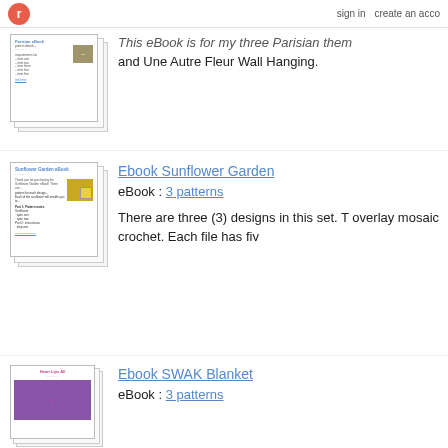r  sign in  create an acco
[Figure (illustration): Stack of ebook pages showing Parisian-themed crochet pattern book cover with small portrait photo]
This eBook is for my three Parisian them and Une Autre Fleur Wall Hanging.
[Figure (illustration): Stack of ebook pages showing Sunflower Garden eBook cover with yellow sunflower mosaic crochet image]
Ebook Sunflower Garden
eBook : 3 patterns
There are three (3) designs in this set. T overlay mosaic crochet. Each file has fiv
[Figure (illustration): Stack of ebook pages showing Heart Lips All / SWAK Blanket cover with purple heart pattern]
Ebook SWAK Blanket
eBook : 3 patterns